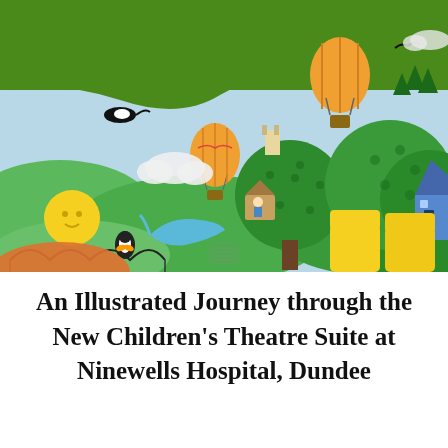[Figure (photo): Interior photo of a children's hospital theatre suite waiting area featuring a colourful illustrated mural covering the walls. The mural depicts a whimsical landscape with rolling green hills, hot air balloons, trees with patterned foliage, a smiling sun, a dolphin, birds/penguins, a treehouse, a fairytale castle, and a blue house. Yellow and orange child-sized seating chairs are in the foreground. The ceiling and upper walls are painted green.]
An Illustrated Journey through the New Children's Theatre Suite at Ninewells Hospital, Dundee